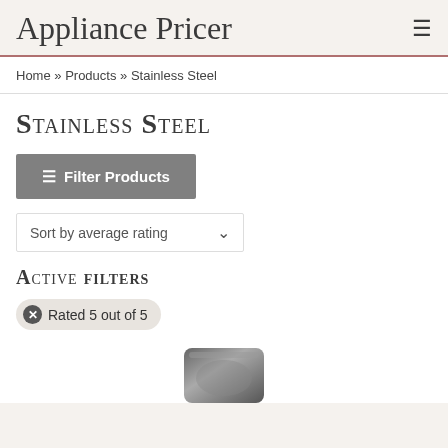Appliance Pricer
Home » Products » Stainless Steel
Stainless Steel
☰ Filter Products
Sort by average rating
Active filters
✕ Rated 5 out of 5
[Figure (photo): Partial view of a stainless steel appliance product image at the bottom of the page]